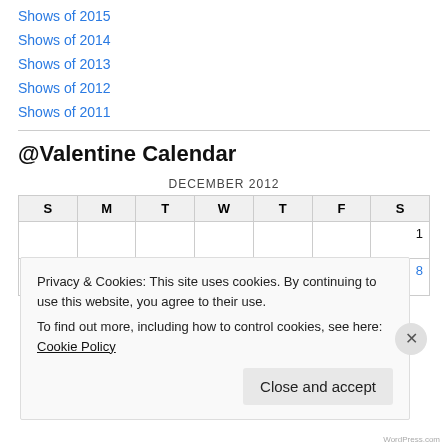Shows of 2015
Shows of 2014
Shows of 2013
Shows of 2012
Shows of 2011
@Valentine Calendar
| S | M | T | W | T | F | S |
| --- | --- | --- | --- | --- | --- | --- |
|  |  |  |  |  |  | 1 |
| 2 | 3 | 4 | 5 | 6 | 7 | 8 |
Privacy & Cookies: This site uses cookies. By continuing to use this website, you agree to their use.
To find out more, including how to control cookies, see here: Cookie Policy